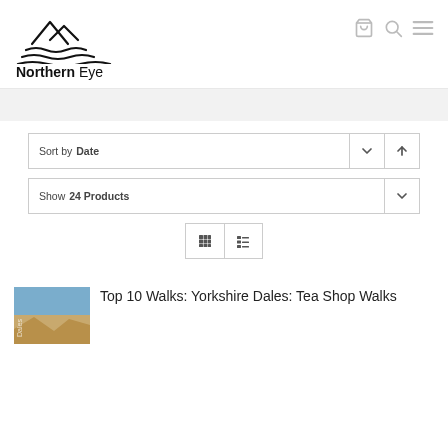[Figure (logo): Northern Eye logo with mountain/wave lines above the text]
Northern Eye
Sort by Date
Show 24 Products
[Figure (screenshot): Top 10 Walks: Yorkshire Dales: Tea Shop Walks product thumbnail]
Top 10 Walks: Yorkshire Dales: Tea Shop Walks